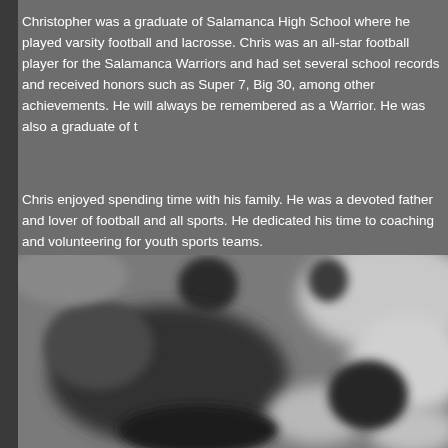Christopher was a graduate of Salamanca High School where he played varsity football and lacrosse. Chris was an all-star football player for the Salamanca Warriors and had set several school records and received honors such as Super 7, Big 30, among other achievements. He will always be remembered as a Warrior. He was also a graduate of t...
Chris enjoyed spending time with his family. He was a devoted father and lover of football and all sports. He dedicated his time to coaching and volunteering for youth sports teams.
[Figure (photo): A blurred black and white photograph, appears to show people in an outdoor or sports-related setting.]